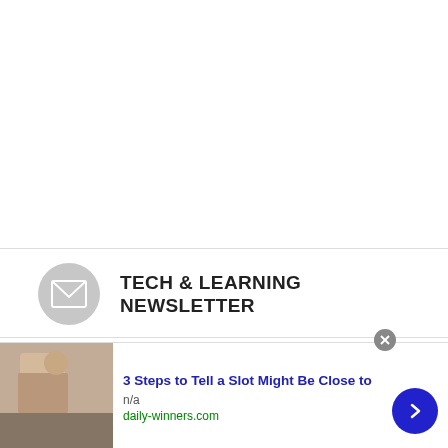[Figure (illustration): White empty area at top of page above newsletter signup section]
TECH & LEARNING NEWSLETTER
Tools and ideas to transform education. Sign up below.
[Figure (screenshot): Email address input field with placeholder text 'Your Email Address']
[Figure (photo): Advertisement banner: '3 Steps to Tell a Slot Might Be Close to' from daily-winners.com with a photo of a person and navigation arrow button]